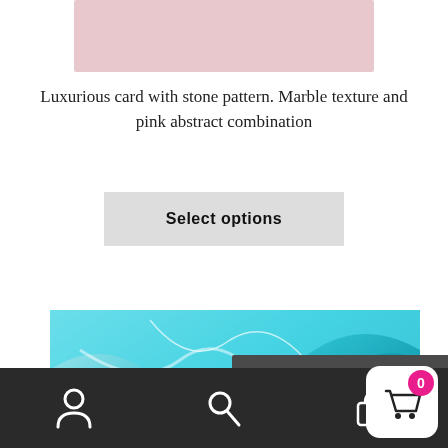[Figure (photo): Pink/rose colored product image placeholder at top of page]
Luxurious card with stone pattern. Marble texture and pink abstract combination
Select options
[Figure (photo): Teal and blue marble texture product image with price overlay badge showing $1.49 – $14.99]
$1.49 – $14.99
Bottom navigation bar with user, search, and cart icons. Cart badge shows 0.